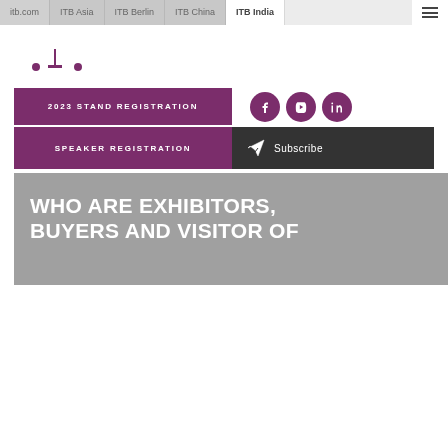itb.com | ITB Asia | ITB Berlin | ITB China | ITB India
[Figure (logo): ITB India logo with stylized tower and dots]
2023 STAND REGISTRATION
SPEAKER REGISTRATION
[Figure (infographic): Social media icons: Facebook, YouTube, LinkedIn in purple circles; Subscribe button with paper plane icon on dark background]
WHO ARE EXHIBITORS, BUYERS AND VISITOR OF